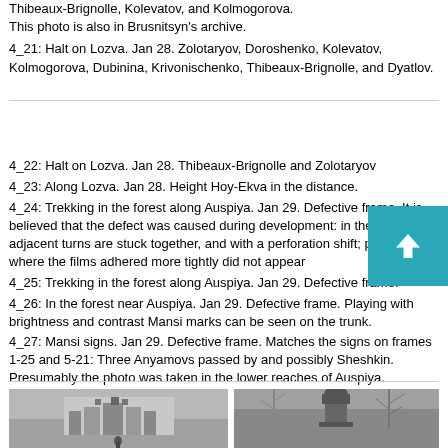Thibeaux-Brignolle, Kolevatov, and Kolmogorova. This photo is also in Brusnitsyn's archive.
4_21: Halt on Lozva. Jan 28. Zolotaryov, Doroshenko, Kolevatov, Kolmogorova, Dubinina, Krivonischenko, Thibeaux-Brignolle, and Dyatlov.
4_22: Halt on Lozva. Jan 28. Thibeaux-Brignolle and Zolotaryov
4_23: Along Lozva. Jan 28. Height Hoy-Ekva in the distance.
4_24: Trekking in the forest along Auspiya. Jan 29. Defective frame. It is believed that the defect was caused during development: in the tank, two adjacent turns are stuck together, and with a perforation shift; places where the films adhered more tightly did not appear
4_25: Trekking in the forest along Auspiya. Jan 29. Defective frame.
4_26: In the forest near Auspiya. Jan 29. Defective frame. Playing with brightness and contrast Mansi marks can be seen on the trunk.
4_27: Mansi signs. Jan 29. Defective frame. Matches the signs on frames 1-25 and 5-21: Three Anyamovs passed by and possibly Sheshkin. Presumably the photo was taken in the lower reaches of Auspiya.
[Figure (photo): Black and white photo of a large building or castle in winter/overcast conditions with a small figure at the bottom]
[Figure (photo): Black and white photo of a statue or monument with bare trees in the background in winter]